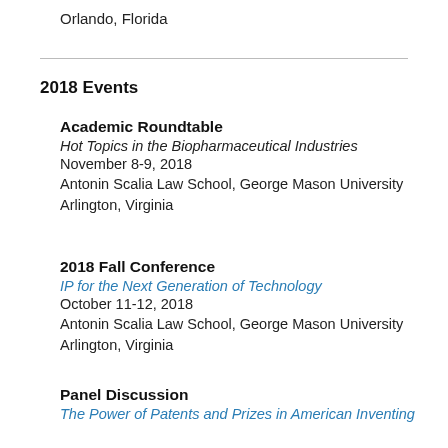Orlando, Florida
2018 Events
Academic Roundtable
Hot Topics in the Biopharmaceutical Industries
November 8-9, 2018
Antonin Scalia Law School, George Mason University
Arlington, Virginia
2018 Fall Conference
IP for the Next Generation of Technology
October 11-12, 2018
Antonin Scalia Law School, George Mason University
Arlington, Virginia
Panel Discussion
The Power of Patents and Prizes in American Inventing